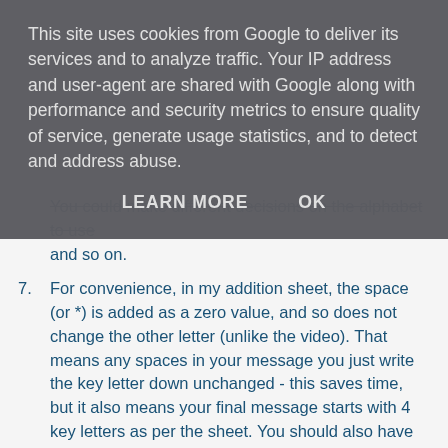This site uses cookies from Google to deliver its services and to analyze traffic. Your IP address and user-agent are shared with Google along with performance and security metrics to ensure quality of service, generate usage statistics, and to detect and address abuse.
LEARN MORE   OK
You could make different decisions on the alphabet to use and so on.
7. For convenience, in my addition sheet, the space (or *) is added as a zero value, and so does not change the other letter (unlike the video). That means any spaces in your message you just write the key letter down unchanged - this saves time, but it also means your final message starts with 4 key letters as per the sheet. You should also have spaces on the end, so also writing the key letters again, either a random extra number of spaces, or perhaps all the way to the end of the 160 characters every time. This hides the length of your true message.
8. You send the code letters to the recipient. This could be by text, but remember, this coded message is not secret - so you